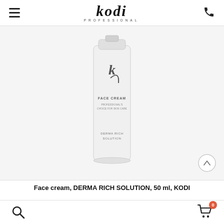kodi PROFESSIONAL
[Figure (photo): Kodi Professional Face Cream tube product photo. White tube with Kodi logo, text: FACE CREAM, PROFESSIONAL'S CHOICE FOR SKIN CARE, DERMA RICH SOLUTION]
Face cream, DERMA RICH SOLUTION, 50 ml, KODI
4.54 €
Search icon and shopping cart with badge 0